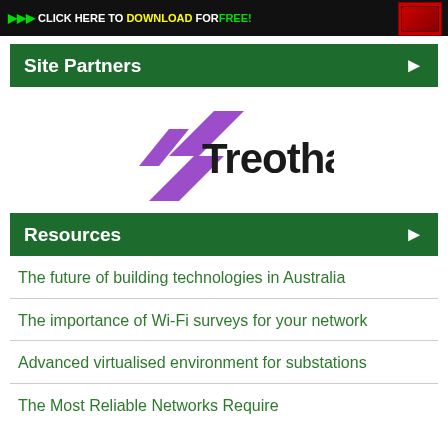[Figure (screenshot): Dark banner with green arrows, white text 'CLICK HERE TO', yellow 'DOWNLOAD', green 'FOR FREE!' and a red product image on the right]
Site Partners ▶
[Figure (logo): Treotham logo with purple diagonal stripes and bold black text 'Treotham']
Resources ▶
The future of building technologies in Australia
The importance of Wi-Fi surveys for your network
Advanced virtualised environment for substations
The Most Reliable Networks Require